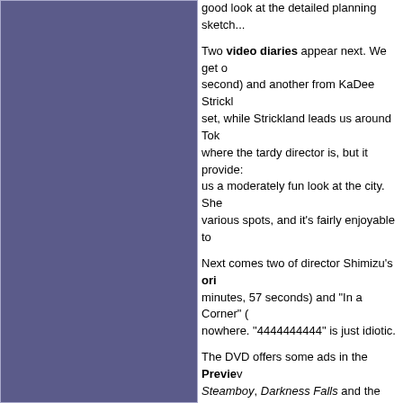good look at the detailed planning sketch...
Two video diaries appear next. We get one (second) and another from KaDee Strickland set, while Strickland leads us around Tokyo where the tardy director is, but it provides us a moderately fun look at the city. She various spots, and it's fairly enjoyable to...
Next comes two of director Shimizu's original shorts, minutes, 57 seconds) and "In a Corner" (...) nowhere. "4444444444" is just idiotic.
The DVD offers some ads in the Previews section: Steamboy, Darkness Falls and the extended...
The Grudge aspires to be more than just a horror film. The movie is quirkier and more stylish than most, but never pays off in a satisfying manner. The disc offers effective sound and some decent extras.
I wasn't wild about the theatrical cut of The Grudge, but it made me like it more. In fact, the extra footage was... As such, it's not something I'd recommend to everyone. If you like the flick, this DVD might be worth a look. The extended cut isn't better, but at least it tosses out a bunch of new... I guess you'll have to decide. I'd guess "no", but...
To rate this film, visit t...